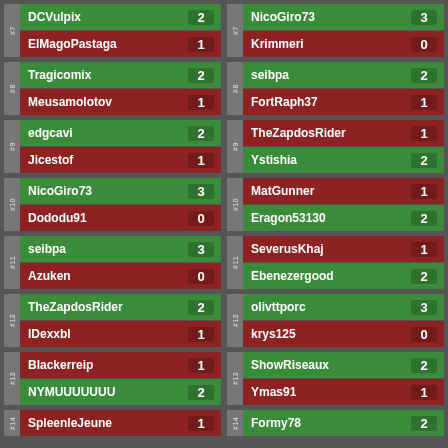| Rank | Player | Score |
| --- | --- | --- |
| #7 | DCVulpix | 2 |
| #7 | ElMagoPastaga | 1 |
| #8 | Tragicomix | 2 |
| #8 | Meusamolotov | 1 |
| #9 | edgcavi | 2 |
| #9 | Jicestof | 1 |
| #10 | NicoGiro73 | 3 |
| #10 | Dododu91 | 0 |
| #11 | seibpa | 3 |
| #11 | Azuken | 0 |
| #12 | TheZapdosRider | 2 |
| #12 | IDexxbl | 1 |
| #13 | Blackerreip | 1 |
| #13 | NYMUUUUUUU | 2 |
| #14 | SpleenleJeune | 1 |
| #7 | NicoGiro73 | 3 |
| #7 | Krimmeri | 0 |
| #8 | seibpa | 2 |
| #8 | FortRaph37 | 1 |
| #9 | TheZapdosRider | 1 |
| #9 | Ystishia | 2 |
| #10 | MatGunner | 1 |
| #10 | Eragon53130 | 2 |
| #11 | SeverusKhaj | 1 |
| #11 | Ebenezergood | 2 |
| #12 | olivttporc | 3 |
| #12 | krys125 | 0 |
| #13 | ShowRiseaux | 2 |
| #13 | Ymas91 | 1 |
| #14 | Formy78 | 2 |